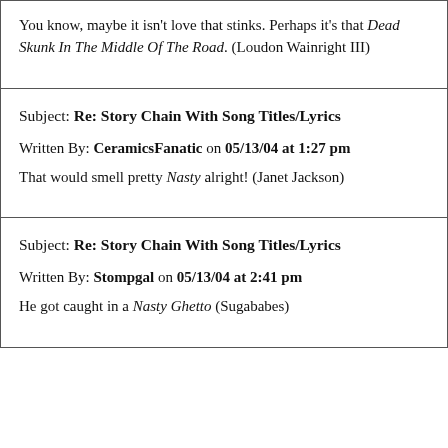You know, maybe it isn't love that stinks.  Perhaps it's that Dead Skunk In The Middle Of The Road.  (Loudon Wainright III)
Subject: Re: Story Chain With Song Titles/Lyrics
Written By: CeramicsFanatic on 05/13/04 at 1:27 pm
That would smell pretty Nasty alright! (Janet Jackson)
Subject: Re: Story Chain With Song Titles/Lyrics
Written By: Stompgal on 05/13/04 at 2:41 pm
He got caught in a Nasty Ghetto (Sugababes)